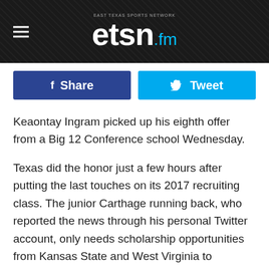etsn.fm — EAST TEXAS SPORTS NETWORK
[Figure (other): Share and Tweet social media buttons row — Facebook Share button (dark blue) and Twitter Tweet button (cyan)]
Keaontay Ingram picked up his eighth offer from a Big 12 Conference school Wednesday.
Texas did the honor just a few hours after putting the last touches on its 2017 recruiting class. The junior Carthage running back, who reported the news through his personal Twitter account, only needs scholarship opportunities from Kansas State and West Virginia to complete a sweep of the 10-team league.